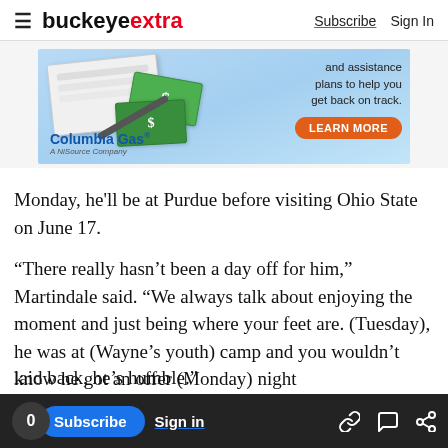buckeyextra | Subscribe  Sign In
[Figure (illustration): Columbia Gas advertisement banner showing check/money imagery with text 'and assistance plans to help you get back on track.' and a LEARN MORE button]
Monday, he'll be at Purdue before visiting Ohio State on June 17.
“There really hasn’t been a day off for him,” Martindale said. “We always talk about enjoying the moment and just being where your feet are. (Tuesday), he was at (Wayne’s youth) camp and you wouldn’t know he got an offer (Monday) night
0  Subscribe  Sign in
laid back, he’s humble.”